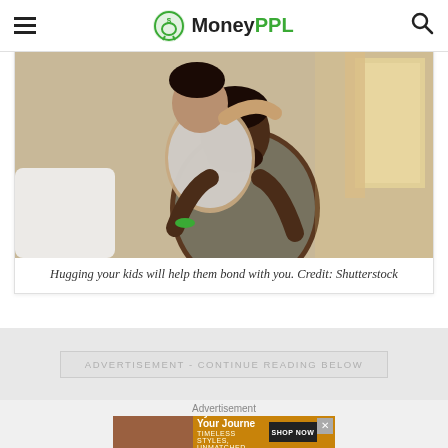MoneyPPL
[Figure (photo): A parent hugging a child, sitting on a sofa in a warm indoor setting. The child wraps arms around the adult's neck. Both appear to be of African descent.]
Hugging your kids will help them bond with you. Credit: Shutterstock
ADVERTISEMENT - CONTINUE READING BELOW
Advertisement
[Figure (photo): Advertisement banner: Eyewear for Your Journey. Timeless styles, unmatched quality. Shop Now.]